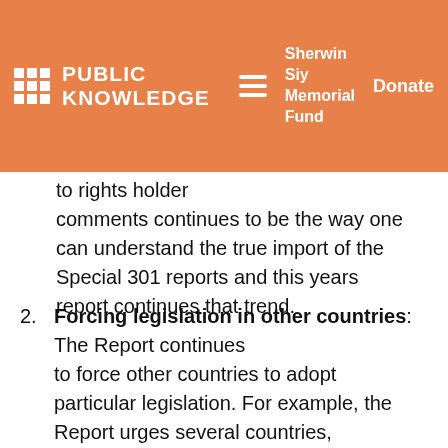PUBLIC KNOWLEDGE   Sherwin Siy Memorial Fund   Donate
to rights holder comments continues to be the way one can understand the true import of the Special 301 reports and this years report continues that trend.
2. Forcing legislation in other countries: The Report continues to force other countries to adopt particular legislation. For example, the Report urges several countries, including Canada and Israel to adopt DRM